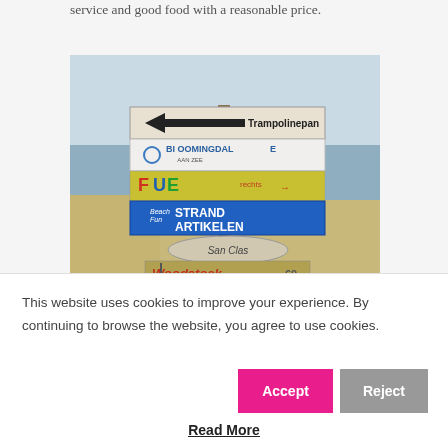service and good food with a reasonable price.
[Figure (photo): A cluster of colorful beach signs stacked on a post, including signs for Trampolinepark, Bloomingdale aan Zee, FUEL, Beach Fun, STRAND ARTIKELEN, San Clas, and Woodstock69, with a beach and sea visible in the background.]
This website uses cookies to improve your experience. By continuing to browse the website, you agree to use cookies.
Read More